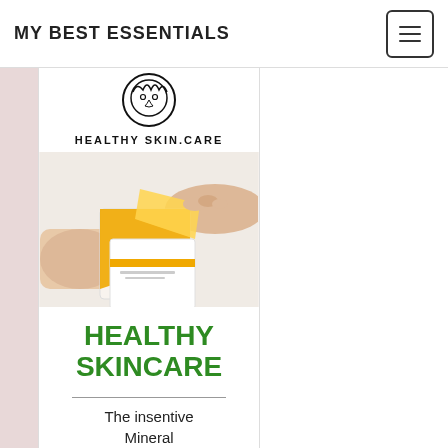MY BEST ESSENTIALS
[Figure (logo): Healthy Skin Care circular logo with face illustration]
HEALTHY SKIN.CARE
[Figure (photo): Hands holding white and yellow skincare product boxes]
HEALTHY SKINCARE
The insentive Mineral